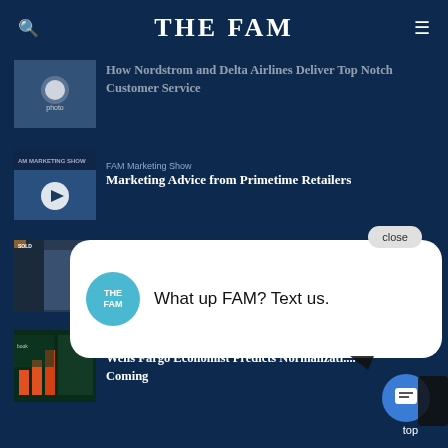THE FAM
[Figure (screenshot): Thumbnail image for Nordstrom and Delta Airlines article]
How Nordstrom and Delta Airlines Deliver Top Notch Customer Service
[Figure (screenshot): FAM Marketing Show thumbnail with play button]
FAM Marketing Show
Marketing Advice from Primetime Retailers
[Figure (screenshot): Thumbnail showing a person in military-style clothing near a storefront]
Adventures of Mattman · Articles · Mattress Matt
Wor...
[Figure (screenshot): Thumbnail with charts and book displays]
Articles · Mattress · Mattress Articles
Wells Fargo Economist Predicts Normalization Coming
[Figure (infographic): Chat popup with THE FAM logo and message: What up FAM? Text us. With a close button.]